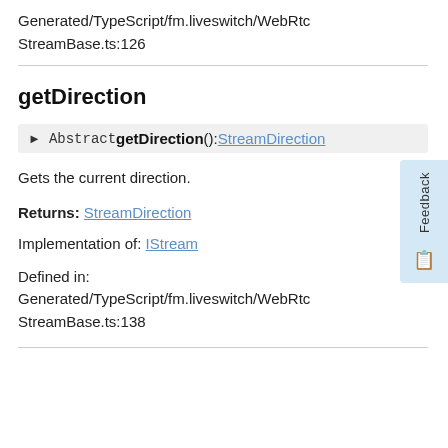Generated/TypeScript/fm.liveswitch/WebRtcStreamBase.ts:126
getDirection
▶ Abstract getDirection(): StreamDirection
Gets the current direction.
Returns: StreamDirection
Implementation of: IStream
Defined in: Generated/TypeScript/fm.liveswitch/WebRtcStreamBase.ts:138